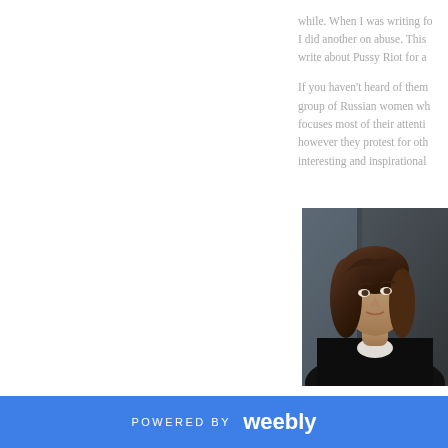while. When I was writing fo I did another on abuse. This write about Pussy Riot for a
If you haven't heard of them group of Russian women wh focuses most of their attenti however they protest for oth interesting and inspirational
[Figure (photo): Photo of a young woman with brown wavy hair, wearing a black blazer over a white top, photographed indoors against a dark background. The image is cropped to show her from roughly the shoulders up.]
POWERED BY weebly